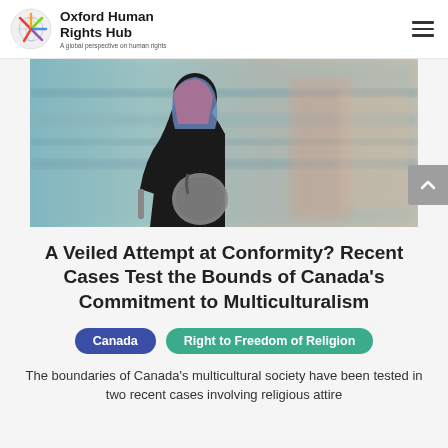Oxford Human Rights Hub — A global perspective on human rights
[Figure (photo): A woman wearing a black hijab and colorful scarf walking through a busy, motion-blurred urban environment, carrying luggage and a bag.]
A Veiled Attempt at Conformity? Recent Cases Test the Bounds of Canada's Commitment to Multiculturalism
Canada | Right to Freedom of Religion
The boundaries of Canada's multicultural society have been tested in two recent cases involving religious attire